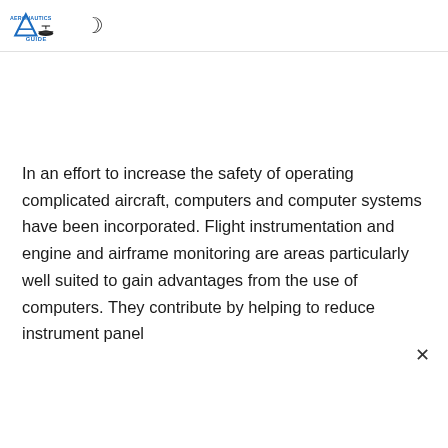AERONAUTICS GUIDE
In an effort to increase the safety of operating complicated aircraft, computers and computer systems have been incorporated. Flight instrumentation and engine and airframe monitoring are areas particularly well suited to gain advantages from the use of computers. They contribute by helping to reduce instrument panel